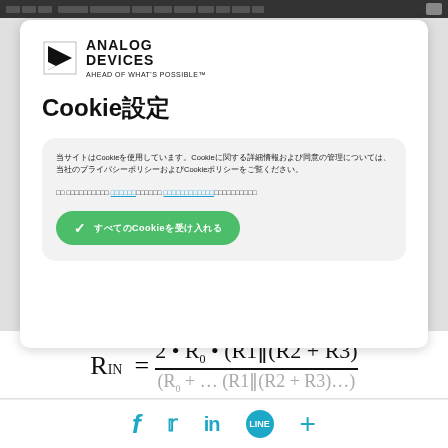[Figure (logo): Analog Devices logo with triangle icon, text 'ANALOG DEVICES' and tagline 'AHEAD OF WHAT'S POSSIBLE™']
Cookie設定
当サイトはCookieを使用しています。Cookieに関する詳細情報および同意の管理については、当社のプライバシーポリシーおよびCookieポリシーをご覧ください。
✓ すべてのCookieを受け入れる
[Figure (other): Social media share icons: Facebook, Twitter, LinkedIn, LINE, Plus]